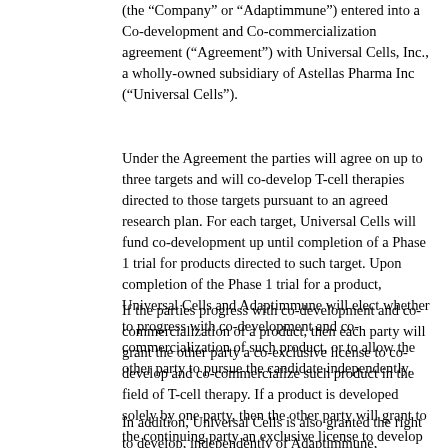(the “Company” or “Adaptimmune”) entered into a Co-development and Co-commercialization agreement (“Agreement”) with Universal Cells, Inc., a wholly-owned subsidiary of Astellas Pharma Inc (“Universal Cells”).
Under the Agreement the parties will agree on up to three targets and will co-develop T-cell therapies directed to those targets pursuant to an agreed research plan. For each target, Universal Cells will fund co-development up until completion of a Phase 1 trial for products directed to such target. Upon completion of the Phase 1 trial for a product, Universal Cells and Adaptimmune will elect whether to progress with co-development and co-commercialization of such product, or to allow the other party to pursue the candidate independently.
If the parties progress with co-development and co-commercialization of a product, then each party will grant the other party a co-exclusive license to co-develop and co-commercialize such product in the field of T-cell therapy. If a product is developed solely by one party, then the other party will grant to the continuing party an exclusive license to develop and commercialize such product in the field of T-cell therapy.
In addition, Universal Cells is also granted the right to develop, independently of Adaptimmune, allogeneic T-cell therapy candidates directed to two targets selected by Universal Cells. Universal Cells will have sole rights to develop and commercialize those directed to those targets.